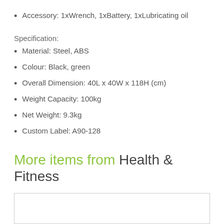Accessory: 1xWrench, 1xBattery, 1xLubricating oil
Specification:
Material: Steel, ABS
Colour: Black, green
Overall Dimension: 40L x 40W x 118H (cm)
Weight Capacity: 100kg
Net Weight: 9.3kg
Custom Label: A90-128
More items from Health & Fitness
[Figure (other): Empty white box with border, placeholder for product image]